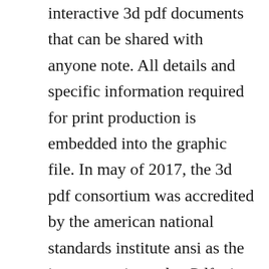interactive 3d pdf documents that can be shared with anyone note. All details and specific information required for print production is embedded into the graphic file. In may of 2017, the 3d pdf consortium was accredited by the american national standards institute ansi as the iso secretariat and u. Pdf a is an iso standard for longterm archiving with pdf. Use the acrobat pro 3d tool to place a 3d file in u3d 3rd edition or prc format on a pdf page. The 3d capture feature allows it to import the 3 d data from other programs using the printscreen button. Use and understanding